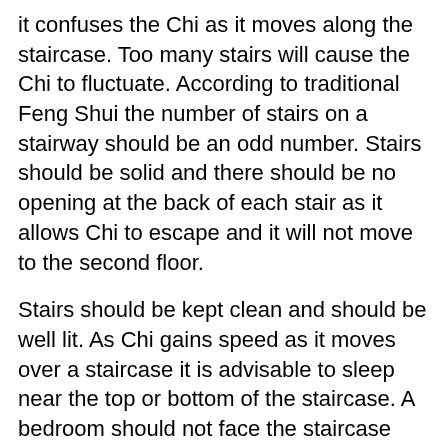it confuses the Chi as it moves along the staircase. Too many stairs will cause the Chi to fluctuate. According to traditional Feng Shui the number of stairs on a stairway should be an odd number. Stairs should be solid and there should be no opening at the back of each stair as it allows Chi to escape and it will not move to the second floor.
Stairs should be kept clean and should be well lit. As Chi gains speed as it moves over a staircase it is advisable to sleep near the top or bottom of the staircase. A bedroom should not face the staircase and should not be located too close to it. Do not clutter the space under the staircase. Arrange things in an orderly fashion or install a cupboard so that you can keep things tidily in it. Staircase running through the center of the house will cause conflict in the family. http://www.indobase.com/fengshui/tips-for-homes/stairways.html Feng shui rules for stairways